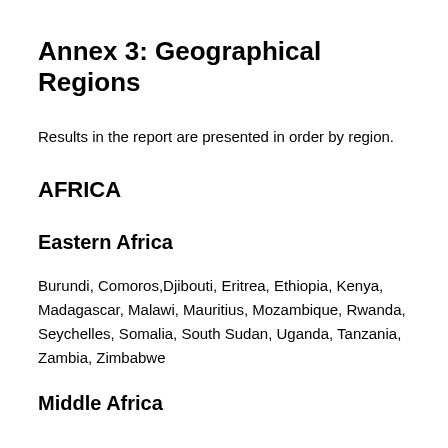Annex 3: Geographical Regions
Results in the report are presented in order by region.
AFRICA
Eastern Africa
Burundi, Comoros,Djibouti, Eritrea, Ethiopia, Kenya, Madagascar, Malawi, Mauritius, Mozambique, Rwanda, Seychelles, Somalia, South Sudan, Uganda, Tanzania, Zambia, Zimbabwe
Middle Africa